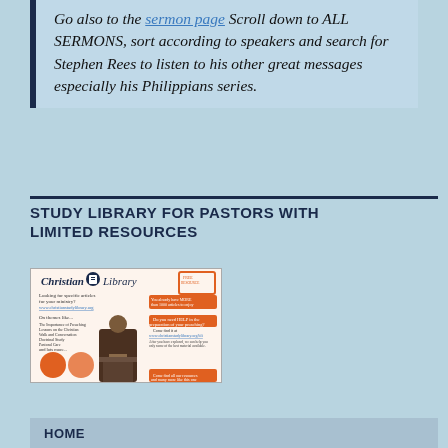Go also to the sermon page Scroll down to ALL SERMONS, sort according to speakers and search for Stephen Rees to listen to his other great messages especially his Philippians series.
STUDY LIBRARY FOR PASTORS WITH LIMITED RESOURCES
[Figure (illustration): Christian Library promotional image showing a man at a podium with orange decorative elements, circles, and text about finding resources for ministry and preaching preparation.]
HOME